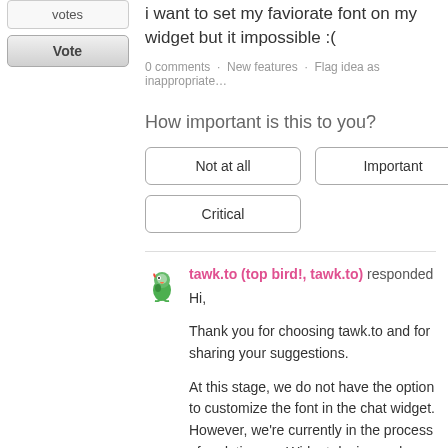[Figure (illustration): Votes box UI element with vote count label and Vote button]
i want to set my faviorate font on my widget but it impossible :(
0 comments · New features · Flag idea as inappropriate…
How important is this to you?
[Figure (illustration): Three option buttons: Not at all, Important, Critical]
tawk.to (top bird!, tawk.to) responded
Hi,

Thank you for choosing tawk.to and for sharing your suggestions.

At this stage, we do not have the option to customize the font in the chat widget. However, we're currently in the process of updating our Widget design and Messaging feature.